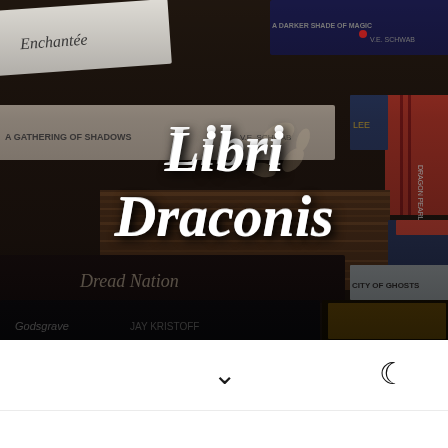[Figure (photo): Dark overhead photo of stacked book spines including titles: 'Enchantée', 'A Darker Shade of Magic by V.E. Schwab', 'A Gathering of Shadows by V.E. Schwab', 'Dragon Pearl by Lee', 'Dread Nation', 'City of Ghosts', 'Godsgrave by Jay Kristoff', and others. A wooden surface is visible in the center. The 'Libri Draconis' logo/title is overlaid in white cursive script in the center of the image.]
Libri Draconis
[Figure (other): White bottom navigation bar with a downward chevron (v) symbol in the center and a crescent moon icon on the right side, indicating dark mode toggle.]